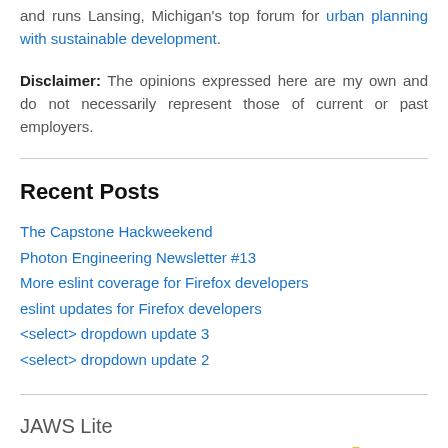and runs Lansing, Michigan's top forum for urban planning with sustainable development.
Disclaimer: The opinions expressed here are my own and do not necessarily represent those of current or past employers.
Recent Posts
The Capstone Hackweekend
Photon Engineering Newsletter #13
More eslint coverage for Firefox developers
eslint updates for Firefox developers
<select> dropdown update 3
<select> dropdown update 2
JAWS Lite
@EnglishMossop Do you want to look better or not? 🤣 11 months ago